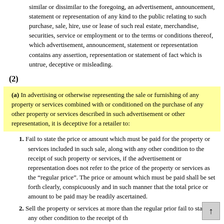similar or dissimilar to the foregoing, an advertisement, announcement, statement or representation of any kind to the public relating to such purchase, sale, hire, use or lease of such real estate, merchandise, securities, service or employment or to the terms or conditions thereof, which advertisement, announcement, statement or representation contains any assertion, representation or statement of fact which is untrue, deceptive or misleading.
(2)
(a) In advertising or otherwise representing the sale or furnishing of any property or services combined with or conditioned on the purchase of any other property or services described in such advertisement or other representation, it is deceptive for a retailer to:
1. Fail to state the price or amount which must be paid for the property or services included in such sale, along with any other condition to the receipt of such property or services, if the advertisement or representation does not refer to the price of the property or services as the “regular price”. The price or amount which must be paid shall be set forth clearly, conspicuously and in such manner that the total price or amount to be paid may be readily ascertained.
2. Sell the property or services at more than the regular price or fail to state any other condition to the receipt of the